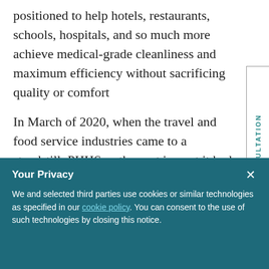positioned to help hotels, restaurants, schools, hospitals, and so much more achieve medical-grade cleanliness and maximum efficiency without sacrificing quality or comfort
In March of 2020, when the travel and food service industries came to a standstill, PHHS saw the vast impact it had on the many people who rely on hotels and restaurants for employment and travel. There had to be a better way to
FREE CONSULTATION
Your Privacy
We and selected third parties use cookies or similar technologies as specified in our cookie policy. You can consent to the use of such technologies by closing this notice.